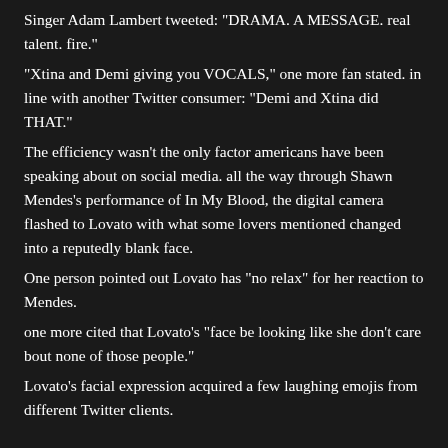Singer Adam Lambert tweeted: "DRAMA. A MESSAGE. real talent. fire."
"Xtina and Demi giving you VOCALS," one more fan stated. in line with another Twitter consumer: "Demi and Xtina did THAT."
The efficiency wasn't the only factor americans have been speaking about on social media. all the way through Shawn Mendes's performance of In My Blood, the digital camera flashed to Lovato with what some lovers mentioned changed into a reputedly blank face.
One person pointed out Lovato has "no relax" for her reaction to Mendes.
one more cited that Lovato's "face be looking like she don't care bout none of those people."
Lovato's facial expression acquired a few laughing emojis from different Twitter clients.